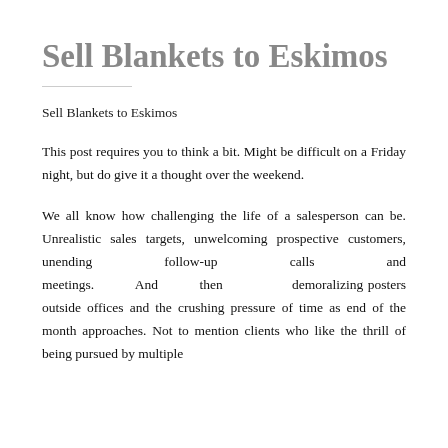Sell Blankets to Eskimos
Sell Blankets to Eskimos
This post requires you to think a bit. Might be difficult on a Friday night, but do give it a thought over the weekend.
We all know how challenging the life of a salesperson can be. Unrealistic sales targets, unwelcoming prospective customers, unending follow-up calls and meetings. And then demoralizing posters outside offices and the crushing pressure of time as end of the month approaches. Not to mention clients who like the thrill of being pursued by multiple